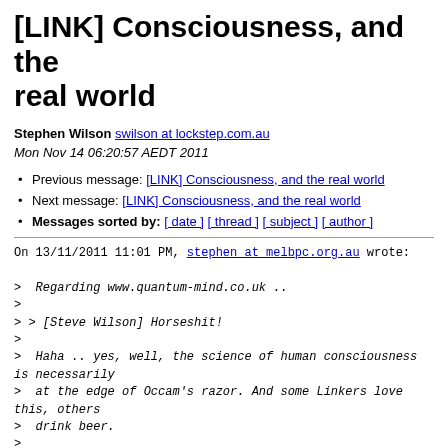[LINK] Consciousness, and the real world
Stephen Wilson swilson at lockstep.com.au
Mon Nov 14 06:20:57 AEDT 2011
Previous message: [LINK] Consciousness, and the real world
Next message: [LINK] Consciousness, and the real world
Messages sorted by: [ date ] [ thread ] [ subject ] [ author ]
On 13/11/2011 11:01 PM, stephen at melbpc.org.au wrote:
>
>  Regarding www.quantum-mind.co.uk ..
>
> > [Steve Wilson] Horseshit!
>
>  Haha .. yes, well, the science of human consciousness is necessarily
>  at the edge of Occam's razor. And some Linkers love this, others
>  drink beer.
>
>  Sure the science is not easy going,